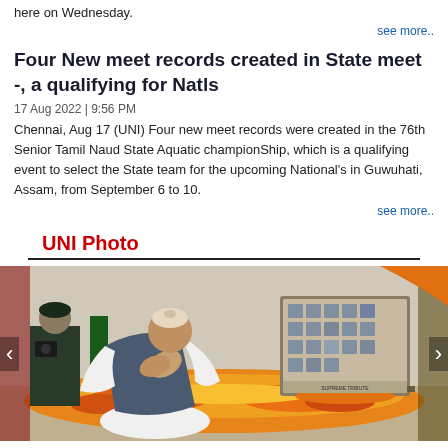here on Wednesday.
see more..
Four New meet records created in State meet -, a qualifying for Natls
17 Aug 2022 | 9:56 PM
Chennai, Aug 17 (UNI) Four new meet records were created in the 76th Senior Tamil Naud State Aquatic championShip, which is a qualifying event to select the State team for the upcoming National's in Guwuhati, Assam, from September 6 to 10.
see more..
UNI Photo
[Figure (photo): A dignitary bowing in prayer/tribute with joined hands in front of a framed collage of photos of soldiers adorned with marigold garlands. Military personnel visible in background.]